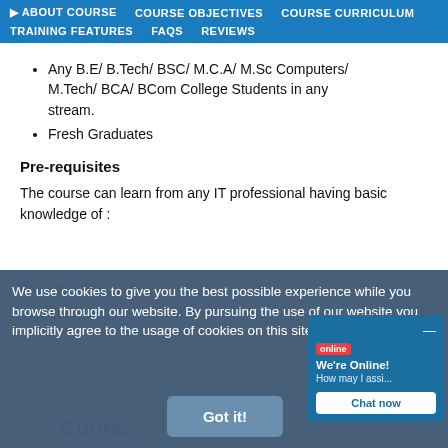ABOUT COURSE  COURSE OBJECTIVES  COURSE CURRICULUM  TRAINING FEATURES  FAQS  REVIEWS
Any B.E/ B.Tech/ BSC/ M.C.A/ M.Sc Computers/ M.Tech/ BCA/ BCom College Students in any stream.
Fresh Graduates
Pre-requisites
The course can learn from any IT professional having basic knowledge of :
We use cookies to give you the best possible experience while you browse through our website. By pursuing the use of our website you implicitly agree to the usage of cookies on this site.